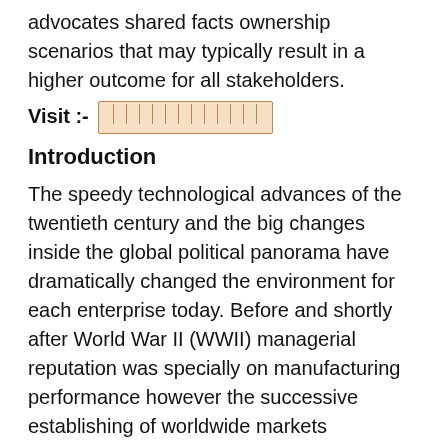advocates shared facts ownership scenarios that may typically result in a higher outcome for all stakeholders.
Visit :- [redacted link]
Introduction
The speedy technological advances of the twentieth century and the big changes inside the global political panorama have dramatically changed the environment for each enterprise today. Before and shortly after World War II (WWII) managerial reputation was specially on manufacturing performance however the successive establishing of worldwide markets